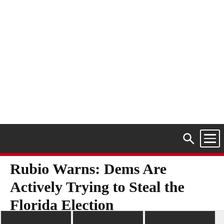[Navigation bar with search and menu icons]
Rubio Warns: Dems Are Actively Trying to Steal the Florida Election
November 10, 2018 · Ohio Star Staff